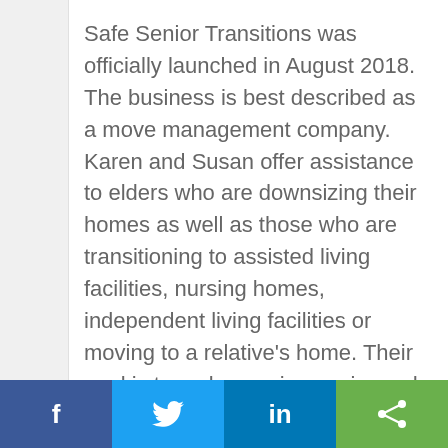Safe Senior Transitions was officially launched in August 2018. The business is best described as a move management company. Karen and Susan offer assistance to elders who are downsizing their homes as well as those who are transitioning to assisted living facilities, nursing homes, independent living facilities or moving to a relative's home. Their goal is to make moving easier and stress free by handling the logistics of the move.
According to Karen, the business has been somewhat slow to gain traction, but they're committed to the business and they're both excited about the possibilities of
[Figure (other): Social media share bar with four buttons: Facebook (dark blue), Twitter (light blue), LinkedIn (blue), and Share/other (green)]